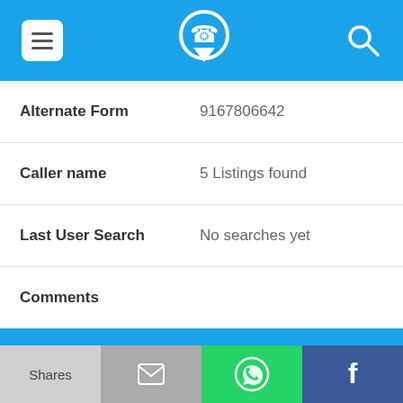[Figure (screenshot): Blue top navigation bar with hamburger menu icon, phone/location logo, and search icon]
| Alternate Form | 9167806642 |
| Caller name | 5 Listings found |
| Last User Search | No searches yet |
| Comments |  |
916-780-6900
| Alternate Form | 9167806900 |
| Caller |  |
[Figure (screenshot): Bottom share bar with four buttons: Shares (light gray), email icon (dark gray), WhatsApp icon (green), Facebook icon (navy)]